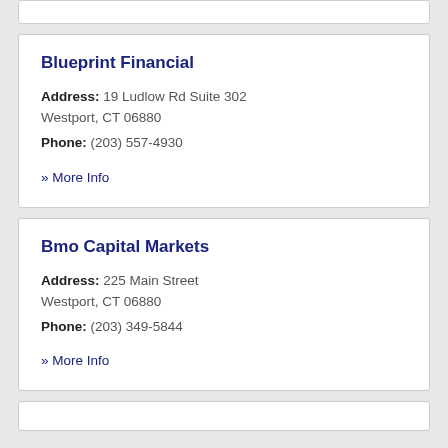Blueprint Financial
Address: 19 Ludlow Rd Suite 302 Westport, CT 06880
Phone: (203) 557-4930
» More Info
Bmo Capital Markets
Address: 225 Main Street Westport, CT 06880
Phone: (203) 349-5844
» More Info